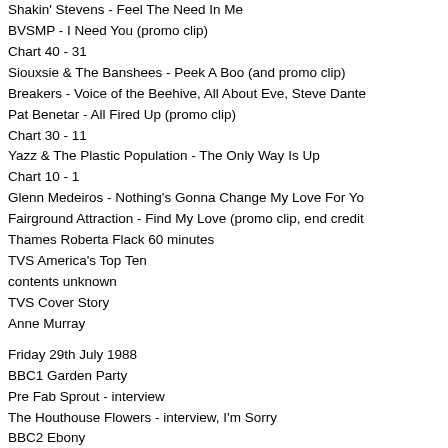Shakin' Stevens - Feel The Need In Me
BVSMP - I Need You (promo clip)
Chart 40 - 31
Siouxsie & The Banshees - Peek A Boo (and promo clip)
Breakers - Voice of the Beehive, All About Eve, Steve Dante
Pat Benetar  - All Fired Up (promo clip)
Chart 30 - 11
Yazz & The Plastic Population - The Only Way Is Up
Chart 10 - 1
Glenn Medeiros - Nothing's Gonna Change My Love For Yo
Fairground Attraction - Find My Love (promo clip, end credit
Thames Roberta Flack 60 minutes
TVS America's Top Ten
contents unknown
TVS Cover Story
Anne Murray
Friday 29th July 1988
BBC1 Garden Party
Pre Fab Sprout - interview
The Houthouse Flowers - interview, I'm Sorry
BBC2 Ebony
Roland Gift - interview
BBC2 Sing Country
Willie Nelson